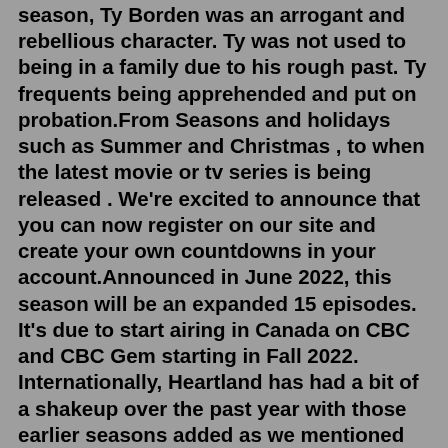season, Ty Borden was an arrogant and rebellious character. Ty was not used to being in a family due to his rough past. Ty frequents being apprehended and put on probation.From Seasons and holidays such as Summer and Christmas , to when the latest movie or tv series is being released . We're excited to announce that you can now register on our site and create your own countdowns in your account.Announced in June 2022, this season will be an expanded 15 episodes. It's due to start airing in Canada on CBC and CBC Gem starting in Fall 2022. Internationally, Heartland has had a bit of a shakeup over the past year with those earlier seasons added as we mentioned above but that shouldn't stop season 16 from coming to Netflix.So much people are team Lou & Scott yet they had the need to introduce Mitch .I think would of been nice if it was Lou & Scott cause both of the sisters could of been married 'to the boy in the loft' and i think Lou and Scott had the best connection.Anyways i tried rewatching Season 14 episode 1 without crying